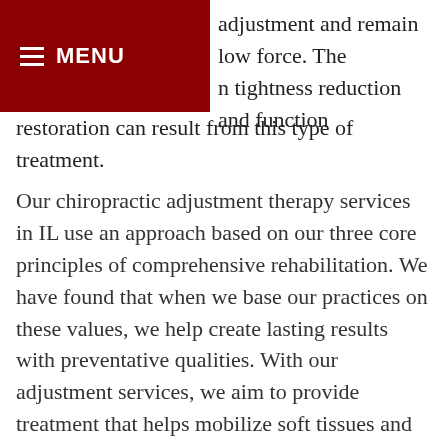MENU
adjustment and remain low force. The n tightness reduction and function restoration can result from this type of treatment.
Our chiropractic adjustment therapy services in IL use an approach based on our three core principles of comprehensive rehabilitation. We have found that when we base our practices on these values, we help create lasting results with preventative qualities. With our adjustment services, we aim to provide treatment that helps mobilize soft tissues and joints, creates a stabilized spinal column and strong core, and optimizes muscle firing. To mobilize is to reduce restrictions and allow freedom of movement. To stabilize is to create a strong foundation throughout the core of your body. To optimize is to improve movement patterns and muscle firing to reduce injury risk and achieve